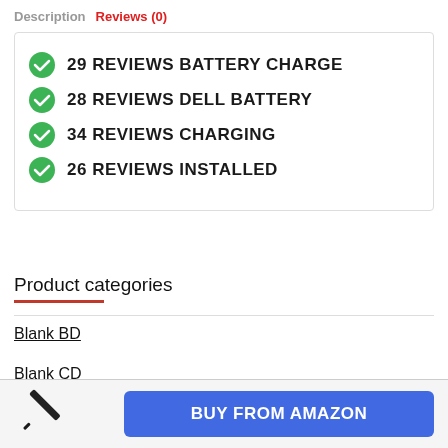Description   Reviews (0)
29 REVIEWS BATTERY CHARGE
28 REVIEWS DELL BATTERY
34 REVIEWS CHARGING
26 REVIEWS INSTALLED
Product categories
Blank BD
Blank CD
[Figure (photo): Small black pen/stylus object in the bottom left corner]
BUY FROM AMAZON